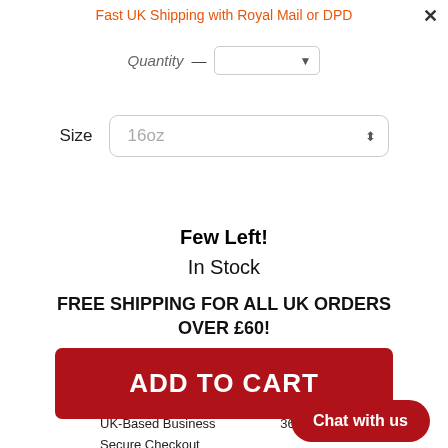Fast UK Shipping with Royal Mail or DPD
Quantity — [dropdown]
Size   16oz [dropdown]
Few Left!
In Stock
FREE SHIPPING FOR ALL UK ORDERS OVER £60!
ADD TO CART
UK-Based Business
365 Day Returns Policy
Secure Checkout
Chat with us